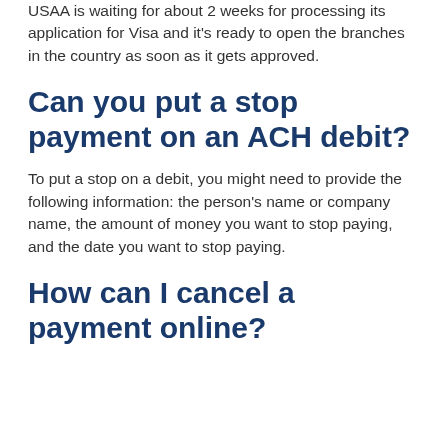USAA is waiting for about 2 weeks for processing its application for Visa and it's ready to open the branches in the country as soon as it gets approved.
Can you put a stop payment on an ACH debit?
To put a stop on a debit, you might need to provide the following information: the person's name or company name, the amount of money you want to stop paying, and the date you want to stop paying.
How can I cancel a payment online?